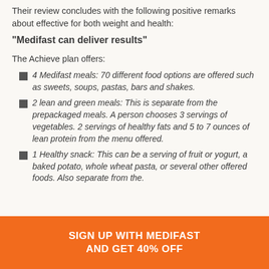Their review concludes with the following positive remarks about effective for both weight and health:
“Medifast can deliver results”
The Achieve plan offers:
4 Medifast meals: 70 different food options are offered such as sweets, soups, pastas, bars and shakes.
2 lean and green meals: This is separate from the prepackaged meals. A person chooses 3 servings of vegetables. 2 servings of healthy fats and 5 to 7 ounces of lean protein from the menu offered.
1 Healthy snack: This can be a serving of fruit or yogurt, a baked potato, whole wheat pasta, or several other offered foods. Also separate from the.
SIGN UP WITH MEDIFAST AND GET 40% OFF